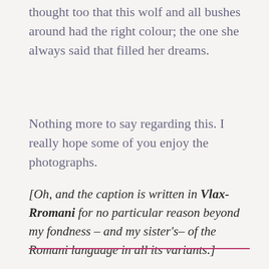thought too that this wolf and all bushes around had the right colour; the one she always said that filled her dreams.
Nothing more to say regarding this. I really hope some of you enjoy the photographs.
[Oh, and the caption is written in Vlax-Rromani for no particular reason beyond my fondness – and my sister's– of the Romani language in all its variants.]